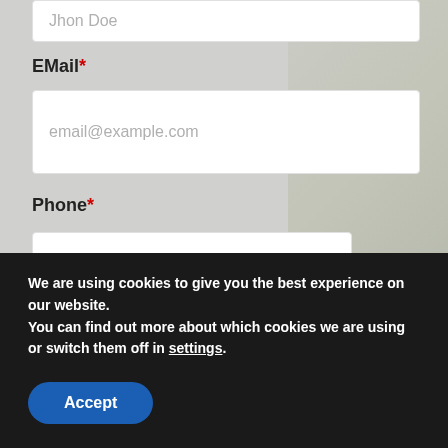Jhon Doe
EMail*
email@example.com
Phone*
(204) 234-5678
Purpose*
Temporary status
We are using cookies to give you the best experience on our website.
You can find out more about which cookies we are using or switch them off in settings.
Accept